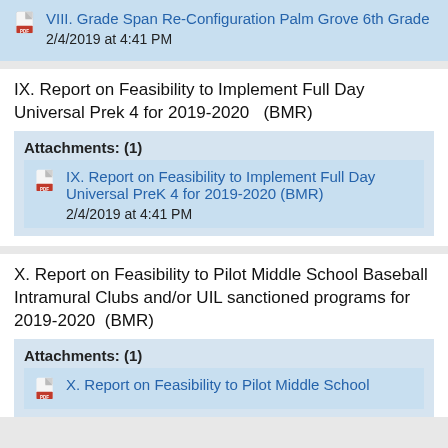VIII. Grade Span Re-Configuration Palm Grove 6th Grade
2/4/2019 at 4:41 PM
IX. Report on Feasibility to Implement Full Day Universal Prek 4 for 2019-2020   (BMR)
Attachments: (1)
IX. Report on Feasibility to Implement Full Day Universal PreK 4 for 2019-2020 (BMR)
2/4/2019 at 4:41 PM
X. Report on Feasibility to Pilot Middle School Baseball Intramural Clubs and/or UIL sanctioned programs for 2019-2020  (BMR)
Attachments: (1)
X. Report on Feasibility to Pilot Middle School